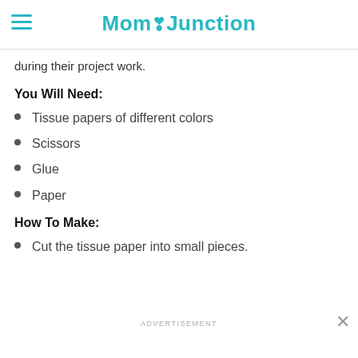MomJunction
during their project work.
You Will Need:
Tissue papers of different colors
Scissors
Glue
Paper
How To Make:
Cut the tissue paper into small pieces.
ADVERTISEMENT